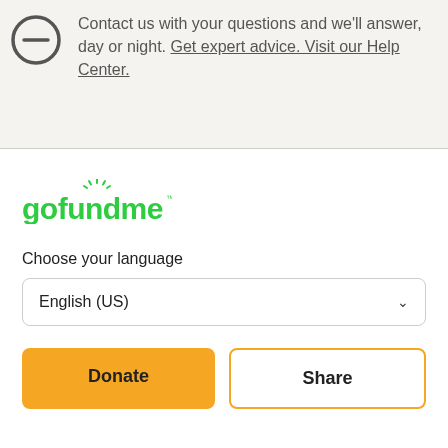[Figure (illustration): Partial clock/timer icon circle with a minus sign, top-left corner]
Contact us with your questions and we'll answer, day or night. Get expert advice. Visit our Help Center.
[Figure (logo): GoFundMe logo in green with sun rays above the letter 'u']
Choose your language
English (US)
Donate
Share